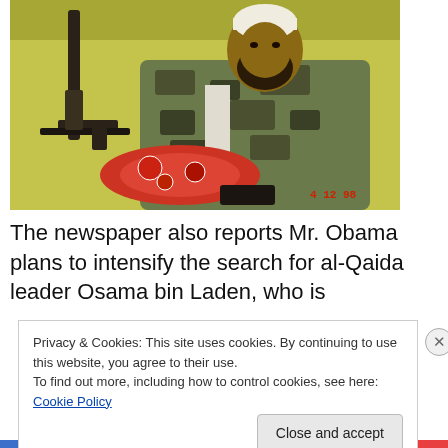[Figure (photo): A bearded man in camouflage jacket and white cap sitting inside a tent with a rifle visible to the left. Date stamp reads 4 12 98.]
The newspaper also reports Mr. Obama plans to intensify the search for al-Qaida leader Osama bin Laden, who is
Privacy & Cookies: This site uses cookies. By continuing to use this website, you agree to their use.
To find out more, including how to control cookies, see here: Cookie Policy